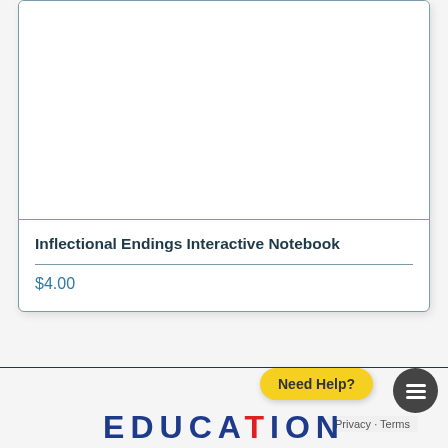[Figure (other): Product card image area — white/blank image placeholder for Inflectional Endings Interactive Notebook]
Inflectional Endings Interactive Notebook
$4.00
Need Help?
Privacy · Terms
EDUCATION